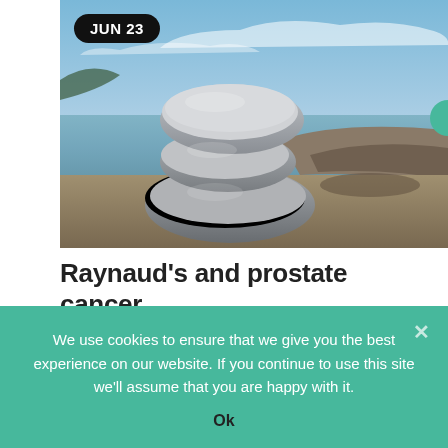[Figure (photo): Stacked zen stones on rocky shore with ocean and dramatic sky in background]
Raynaud's and prostate cancer
What Doctors Don't Tell You
Or was diagnosed with prostate cancer
We use cookies to ensure that we give you the best experience on our website. If you continue to use this site we'll assume that you are happy with it.
Ok